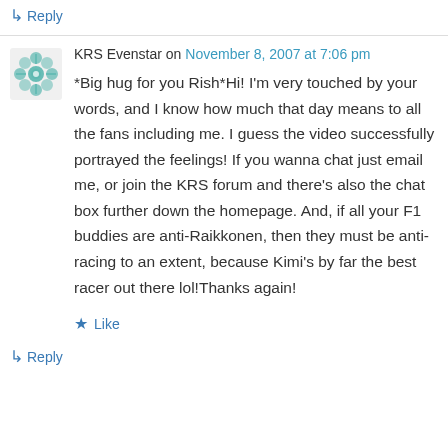↳ Reply
KRS Evenstar on November 8, 2007 at 7:06 pm
*Big hug for you Rish*Hi! I'm very touched by your words, and I know how much that day means to all the fans including me. I guess the video successfully portrayed the feelings! If you wanna chat just email me, or join the KRS forum and there's also the chat box further down the homepage. And, if all your F1 buddies are anti-Raikkonen, then they must be anti-racing to an extent, because Kimi's by far the best racer out there lol!Thanks again!
★ Like
↳ Reply